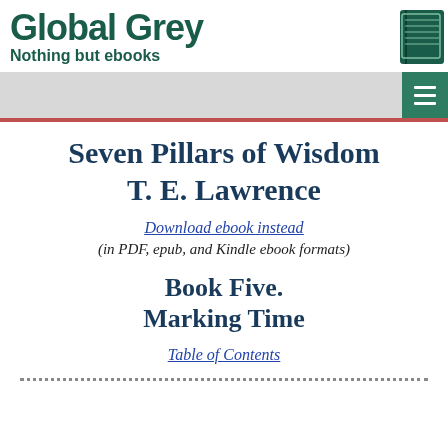Global Grey — Nothing but ebooks
Seven Pillars of Wisdom
T. E. Lawrence
Download ebook instead
(in PDF, epub, and Kindle ebook formats)
Book Five.
Marking Time
Table of Contents